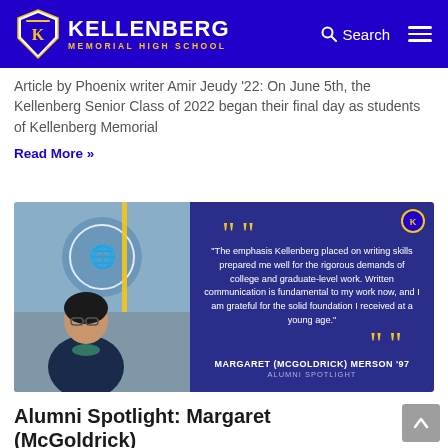KELLENBERG MEMORIAL HIGH SCHOOL
Article by Phoenix writer Amir Jeudy '22: On June 5th, the Kellenberg Senior Class of 2022 began their final day as students of Kellenberg Memorial
Read More »
[Figure (photo): Alumni spotlight card featuring a photo of Margaret (McGoldrick) Merson '97 standing in front of a UN backdrop, with a quote panel reading: 'The emphasis Kellenberg placed on writing skills prepared me well for the rigorous demands of college and graduate-level work. Written communication is fundamental to my work now, and I am grateful for the solid foundation I received at a young age.' — MARGARET (MCGOLDRICK) MERSON '97, ALUMNI SPOTLIGHT]
Alumni Spotlight: Margaret (McGoldrick)